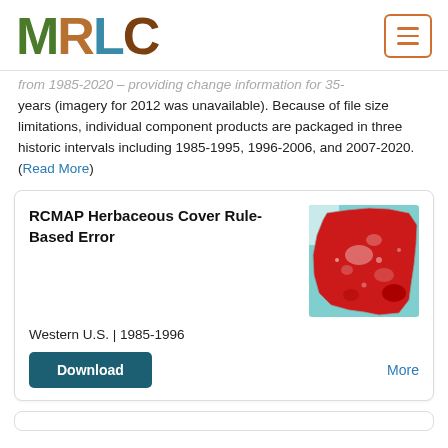MRLC
from 1985-2020 – providing change information for 35 years (imagery for 2012 was unavailable). Because of file size limitations, individual component products are packaged in three historic intervals including 1985-1995, 1996-2006, and 2007-2020. (Read More)
RCMAP Herbaceous Cover Rule-Based Error
[Figure (map): Map of western United States showing RCMAP Herbaceous Cover Rule-Based Error data, with red shading over the western US land area and teal/blue shading for ocean/water areas.]
Western U.S. | 1985-1996
Download
More